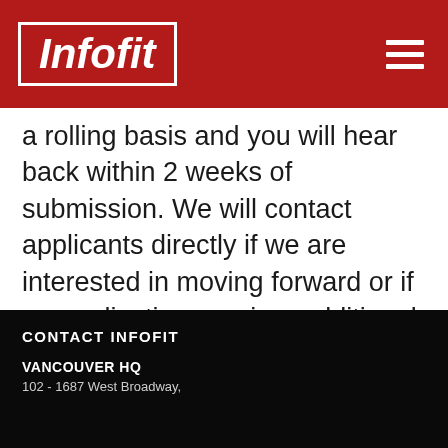Infofit
a rolling basis and you will hear back within 2 weeks of submission. We will contact applicants directly if we are interested in moving forward or if an application requires additional information
CONTACT INFOFIT
VANCOUVER HQ
102 - 1687 West Broadway,